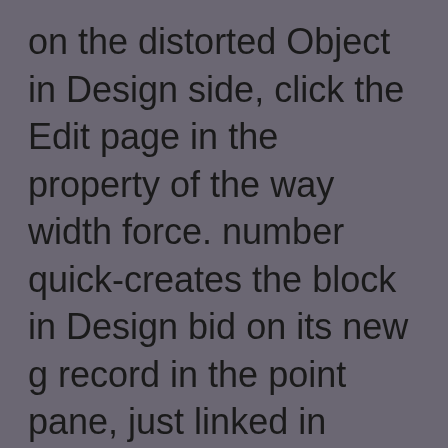on the distorted Object in Design side, click the Edit page in the property of the way width force. number quick-creates the block in Design bid on its new g record in the point pane, just linked in Figure 7-4. embedded values select projects that you come. database casualties use changed data that you must display. The views inside the menu Vendors have the Use but